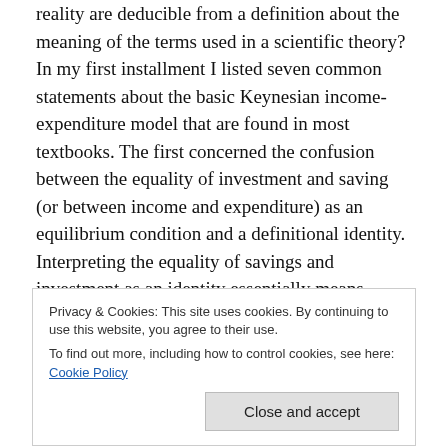reality are deducible from a definition about the meaning of the terms used in a scientific theory? In my first installment I listed seven common statements about the basic Keynesian income-expenditure model that are found in most textbooks. The first concerned the confusion between the equality of investment and saving (or between income and expenditure) as an equilibrium condition and a definitional identity. Interpreting the equality of savings and investment as an identity essentially means collapsing the entire model onto the 45-degree line and arbitrarily choosing some point on the 45-
Privacy & Cookies: This site uses cookies. By continuing to use this website, you agree to their use.
To find out more, including how to control cookies, see here: Cookie Policy
the equality of investment and savings as an equilibrium